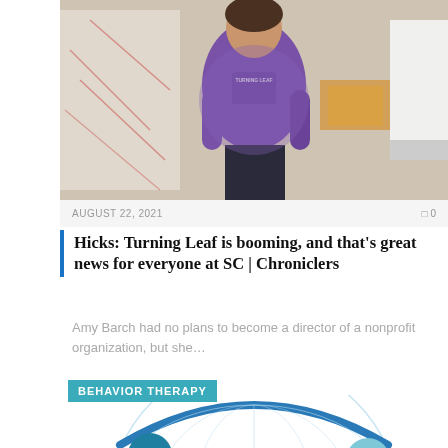[Figure (photo): Person wearing a purple 'Turning Leaf' t-shirt standing in an office/workspace with papers and boxes behind them]
AUGUST 22, 2021
0
Hicks: Turning Leaf is booming, and that's great news for everyone at SC | Chroniclers
Amy Barch had no plans to become a director of a nonprofit organization, but she…
[Figure (illustration): Behavior therapy illustration showing stylized people figures around a globe, with a teal 'BEHAVIOR THERAPY' label overlay]